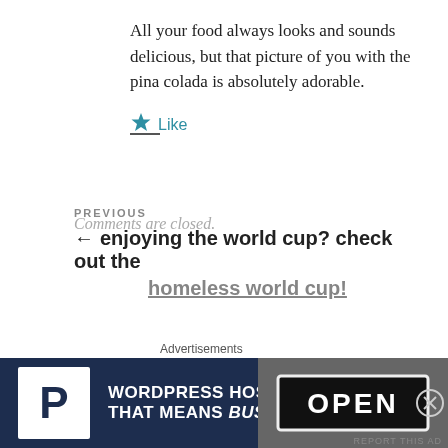All your food always looks and sounds delicious, but that picture of you with the pina colada is absolutely adorable.
★ Like
Comments are closed.
PREVIOUS
← enjoying the world cup? check out the homeless world cup!
Advertisements
[Figure (other): WordPress Hosting advertisement banner showing 'WORDPRESS HOSTING THAT MEANS BUSINESS.' with a P logo and an OPEN sign image]